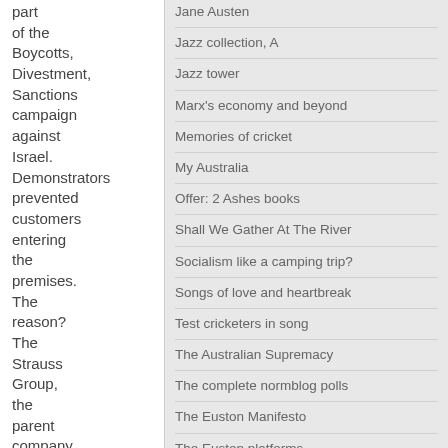part of the Boycotts, Divestment, Sanctions campaign against Israel. Demonstrators prevented customers entering the premises. The reason? The Strauss Group, the parent company of
Jane Austen
Jazz collection, A
Jazz tower
Marx's economy and beyond
Memories of cricket
My Australia
Offer: 2 Ashes books
Shall We Gather At The River
Socialism like a camping trip?
Songs of love and heartbreak
Test cricketers in song
The Australian Supremacy
The complete normblog polls
The Euston Manifesto
The Euston platforms
The FKATWOT index
The Momma 'n' Daddy Archive
The normblog guide to soaps